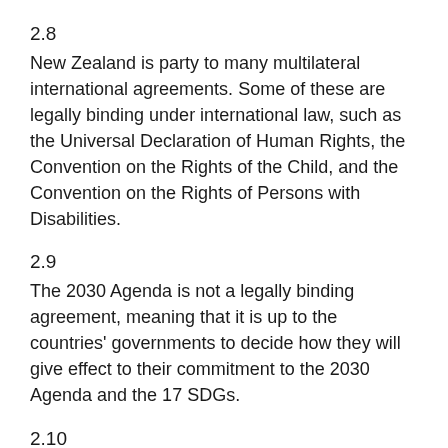2.8
New Zealand is party to many multilateral international agreements. Some of these are legally binding under international law, such as the Universal Declaration of Human Rights, the Convention on the Rights of the Child, and the Convention on the Rights of Persons with Disabilities.
2.9
The 2030 Agenda is not a legally binding agreement, meaning that it is up to the countries' governments to decide how they will give effect to their commitment to the 2030 Agenda and the 17 SDGs.
2.10
The Government has stated it is contributing to the SDGs "through a combination of domestic action, international leadership on global issues and support for developing countries".8 However, nearly six years after it adopted the 2030 Agenda, the Government has not clarified how this will be achieved.